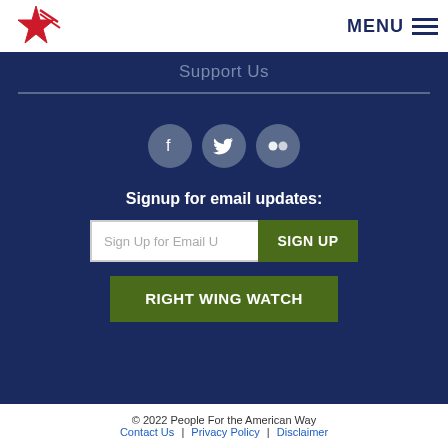MENU
Support Us
[Figure (illustration): Social media icons: Facebook, Twitter, Flickr in grey circles]
Signup for email updates:
Sign Up for Email Updates | SIGN UP
RIGHT WING WATCH
© 2022 People For the American Way
Contact Us | Privacy Policy | Disclaimer